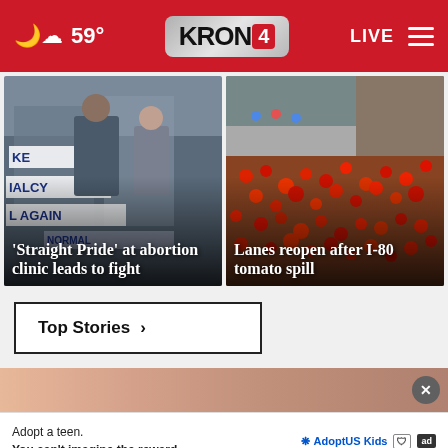59° KRON4 LIVE
[Figure (photo): Protest scene with signs reading 'Make Normalcy Great Again' and people holding banners]
'Straight Pride' at abortion clinic leads to fight
[Figure (photo): Aerial view of I-80 highway covered in red tomatoes after a truck spill]
Lanes reopen after I-80 tomato spill
Top Stories ›
[Figure (photo): Advertisement banner image showing a person]
Adopt a teen. You can't imagine the reward.